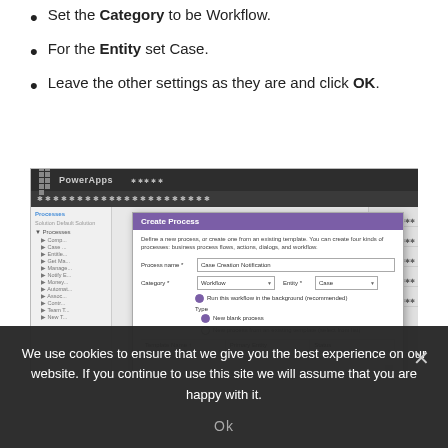Set the Category to be Workflow.
For the Entity set Case.
Leave the other settings as they are and click OK.
[Figure (screenshot): PowerApps Create Process dialog screenshot showing fields: Process name (Case Creation Notification), Category (Workflow), Entity (Case), with radio buttons and a template table.]
We use cookies to ensure that we give you the best experience on our website. If you continue to use this site we will assume that you are happy with it.
Ok